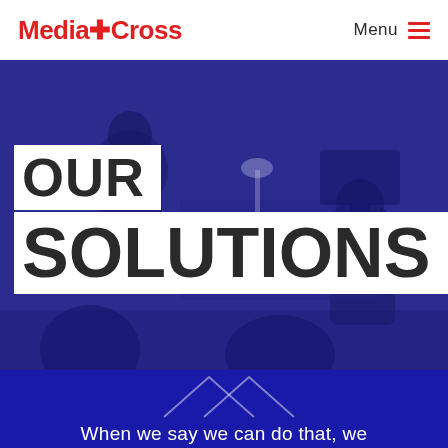MediaCross | Menu
[Figure (photo): Blue-tinted office scene with people in a meeting, overlaid with large white text boxes reading OUR SOLUTIONS]
OUR SOLUTIONS
When we say we can do that, we